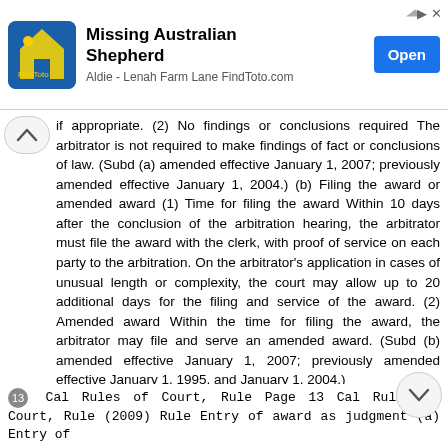[Figure (other): Advertisement banner for 'Missing Australian Shepherd' from FindToto.com, with logo, Open button, and ad arrows]
if appropriate. (2) No findings or conclusions required The arbitrator is not required to make findings of fact or conclusions of law. (Subd (a) amended effective January 1, 2007; previously amended effective January 1, 2004.) (b) Filing the award or amended award (1) Time for filing the award Within 10 days after the conclusion of the arbitration hearing, the arbitrator must file the award with the clerk, with proof of service on each party to the arbitration. On the arbitrator's application in cases of unusual length or complexity, the court may allow up to 20 additional days for the filing and service of the award. (2) Amended award Within the time for filing the award, the arbitrator may file and serve an amended award. (Subd (b) amended effective January 1, 2007; previously amended effective January 1, 1995, and January 1, 2004.)
13 Cal Rules of Court, Rule Page 13 Cal Rules of Court, Rule (2009) Rule Entry of award as judgment (a) Entry of